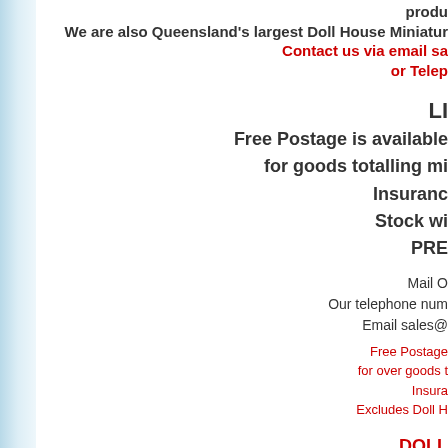produ
We are also Queensland's largest Doll House Miniatur
Contact us via email sa
or Telep
LI
Free Postage is available for goods totalling mi Insurance Stock wi PRE
Mail O Our telephone num Email sales@
Free Postage for over goods t Insura Excludes Doll H
DOLL
Please call ahead as we will be operating from our ho forget we attend Dollhouse Shows a TBA